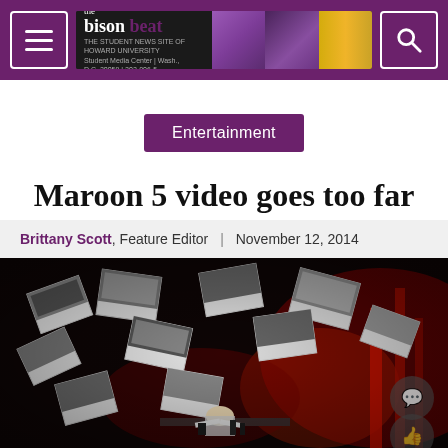bison beat — The Student News Site of Howard University
Entertainment
Maroon 5 video goes too far
Brittany Scott, Feature Editor | November 12, 2014
[Figure (photo): Dark room scene from Maroon 5 music video with red lighting, black and white photos hanging/flying around, and a figure hunched at a desk in the center]